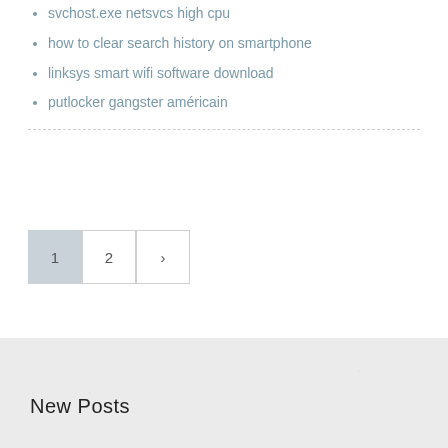svchost.exe netsvcs high cpu
how to clear search history on smartphone
linksys smart wifi software download
putlocker gangster américain
1  2  >
New Posts